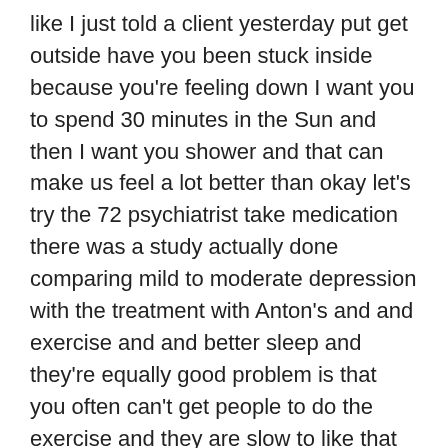like I just told a client yesterday put get outside have you been stuck inside because you're feeling down I want you to spend 30 minutes in the Sun and then I want you shower and that can make us feel a lot better than okay let's try the 72 psychiatrist take medication there was a study actually done comparing mild to moderate depression with the treatment with Anton's and and exercise and and better sleep and they're equally good problem is that you often can't get people to do the exercise and they are slow to like that so you so you sometimes you can kick-start them with the medication and then take them off the medication as they start to do things better he'll often say I don't know if I'm feeling better because of the medication or because I'm doing these other things I would love it I don't know and I don't care yeah I just